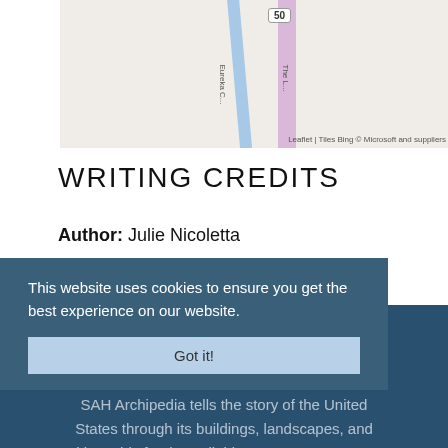[Figure (map): Partial map showing roads including Eureka and route 50, with a blue road and pink road visible. Leaflet/Tiles Bing © Microsoft and suppliers attribution.]
WRITING CREDITS
Author: Julie Nicoletta
This website uses cookies to ensure you get the best experience on our website.
Got it!
If SAH Archipedia has been useful to you, please consider supporting it.
SAH Archipedia tells the story of the United States through its buildings, landscapes, and cities. This freely available resource empowers